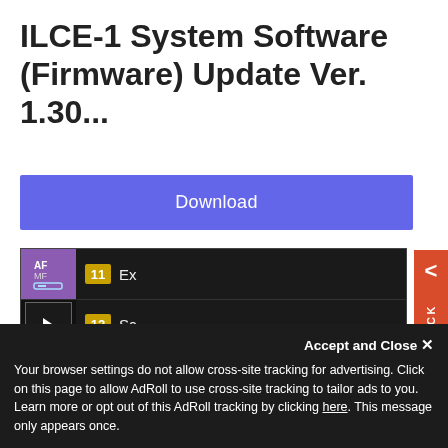ILCE-1 System Software (Firmware) Update Ver. 1.30...
[Figure (screenshot): Download button (blue/purple background) labeled 'Download']
[Figure (screenshot): Camera firmware menu screenshot showing menu items 11 and 12, sidebar icons (AF/MF, playback, globe, toolbox), and bottom bar with Page, trash/help icons, and Close button. Orange FEEDBACK tab on right side.]
Accept and Close ✕
Your browser settings do not allow cross-site tracking for advertising. Click on this page to allow AdRoll to use cross-site tracking to tailor ads to you. Learn more or opt out of this AdRoll tracking by clicking here. This message only appears once.